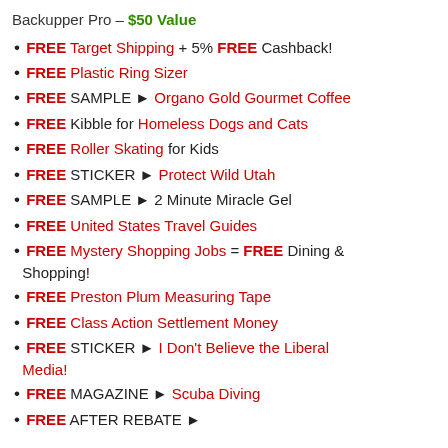Backupper Pro – $50 Value
FREE Target Shipping + 5% FREE Cashback!
FREE Plastic Ring Sizer
FREE SAMPLE ► Organo Gold Gourmet Coffee
FREE Kibble for Homeless Dogs and Cats
FREE Roller Skating for Kids
FREE STICKER ► Protect Wild Utah
FREE SAMPLE ► 2 Minute Miracle Gel
FREE United States Travel Guides
FREE Mystery Shopping Jobs = FREE Dining & Shopping!
FREE Preston Plum Measuring Tape
FREE Class Action Settlement Money
FREE STICKER ► I Don't Believe the Liberal Media!
FREE MAGAZINE ► Scuba Diving
FREE AFTER REBATE ► ...